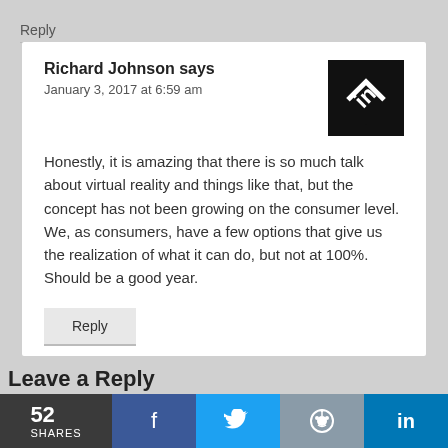Reply
Richard Johnson says
January 3, 2017 at 6:59 am
Honestly, it is amazing that there is so much talk about virtual reality and things like that, but the concept has not been growing on the consumer level. We, as consumers, have a few options that give us the realization of what it can do, but not at 100%. Should be a good year.
Reply
Leave a Reply
52 SHARES
[Figure (logo): Black square with white diamond/arrow logo mark]
f (Facebook share)
Twitter share
Reddit share
LinkedIn share